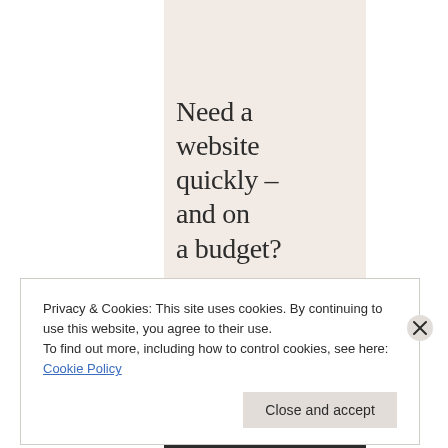Need a website quickly – and on a budget?
Let us build it for you
Let's get started
Privacy & Cookies: This site uses cookies. By continuing to use this website, you agree to their use.
To find out more, including how to control cookies, see here: Cookie Policy
Close and accept